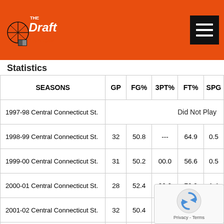[Figure (logo): The Draft Review basketball logo - orange and black with basketball icon]
Statistics
| SEASONS | GP | FG% | 3PT% | FT% | SPG |
| --- | --- | --- | --- | --- | --- |
| 1997-98 Central Connecticut St. |  |  |  | Did Not Play |  |
| 1998-99 Central Connecticut St. | 32 | 50.8 | --- | 64.9 | 0.5 |
| 1999-00 Central Connecticut St. | 31 | 50.2 | 00.0 | 56.6 | 0.5 |
| 2000-01 Central Connecticut St. | 28 | 52.4 | 00.0 | 72.9 | 1.4 |
| 2001-02 Central Connecticut St. | 32 | 50.4 | 00.0 | 76.1 | 1.4 |
| DIV I Totals | 123 | 50.9 | 00.0 | 68... |  |